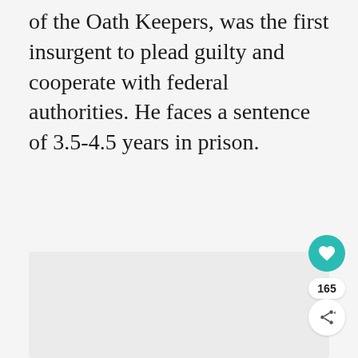of the Oath Keepers, was the first insurgent to plead guilty and cooperate with federal authorities. He faces a sentence of 3.5-4.5 years in prison.
[Figure (photo): Large image placeholder area, light gray background, content not visible in this crop]